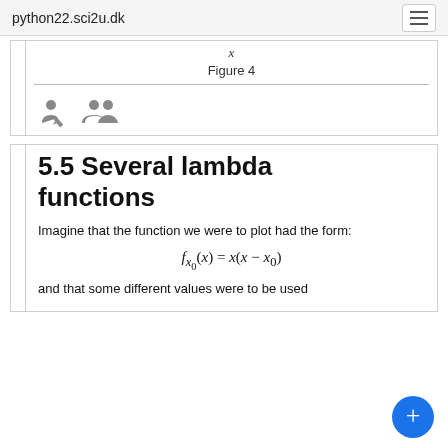python22.sci2u.dk
x
Figure 4
[Figure (other): User icon (person with pencil) and group icon]
5.5 Several lambda functions
Imagine that the function we were to plot had the form:
and that some different values were to be used